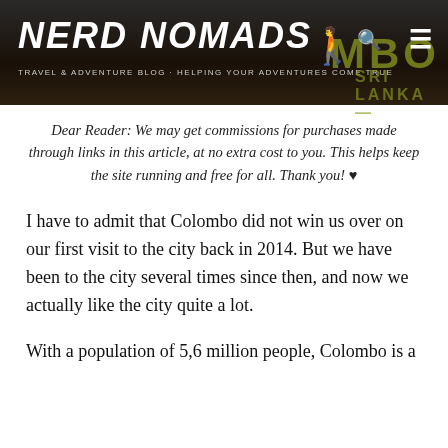[Figure (screenshot): Nerd Nomads travel blog header with dark background showing partial 'Colombo' and 'Sri Lanka' text in olive/yellow. White logo text 'NERD NOMADS' with walking figures icon, tagline 'TRAVEL & ADVENTURE BLOG - HELPING YOUR ADVENTURES COME TRUE', search and menu icons.]
Dear Reader: We may get commissions for purchases made through links in this article, at no extra cost to you. This helps keep the site running and free for all. Thank you! ♥
I have to admit that Colombo did not win us over on our first visit to the city back in 2014. But we have been to the city several times since then, and now we actually like the city quite a lot.
With a population of 5,6 million people, Colombo is a